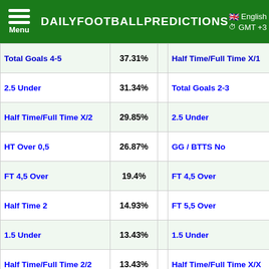DAILYFOOTBALLPREDICTIONS | English | GMT +3
| Bet | % |  | Bet | % |
| --- | --- | --- | --- | --- |
| Total Goals 4-5 | 37.31% |  | Half Time/Full Time X/1 | 36.36% |
| 2.5 Under | 31.34% |  | Total Goals 2-3 | 36.36% |
| Half Time/Full Time X/2 | 29.85% |  | 2.5 Under | 33.33% |
| HT Over 0,5 | 26.87% |  | GG / BTTS No | 33.33% |
| FT 4,5 Over | 19.4% |  | FT 4,5 Over | 30.3% |
| Half Time 2 | 14.93% |  | FT 5,5 Over | 21.21% |
| 1.5 Under | 13.43% |  | 1.5 Under | 15.15% |
| Half Time/Full Time 2/2 | 13.43% |  | Half Time/Full Time X/X | 15.15% |
| HT Over 1,5 | 13.43% |  | HT Over 0,5 | 15.15% |